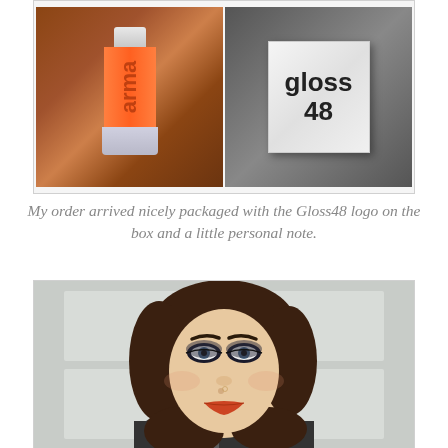[Figure (photo): Two photos side by side: left shows an orange nail polish bottle (armani brand visible) on a wooden surface; right shows a white Gloss48 branded box being held.]
My order arrived nicely packaged with the Gloss48 logo on the box and a little personal note.
[Figure (photo): Portrait photo of a young woman with short dark brown hair, blue eyes, smoky eye makeup, and orange-red lipstick, wearing a dark hoodie, standing in front of a white door.]